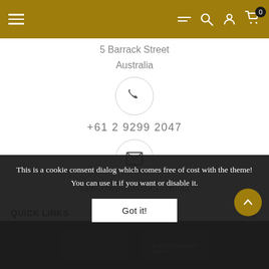Navigation bar with menu, filter, search, account, and cart icons
5 Barrack Street
Australia
[Figure (illustration): Phone icon in a circle]
+61 2 9299 2047
[Figure (illustration): Email envelope icon in a circle]
sales@wynyardcoins.com.au
QUICK LINKS
INFORMATION
This is a cookie consent dialog which comes free of cost with the theme! You can use it if you want or disable it.
Got it!